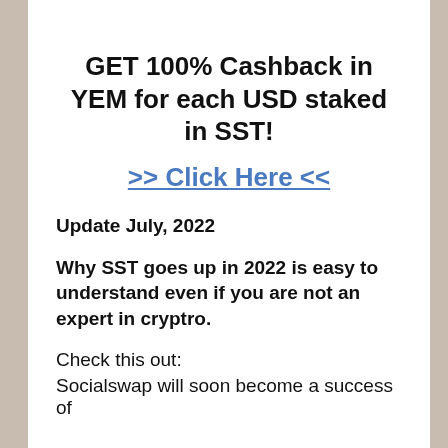GET 100% Cashback in YEM for each USD staked in SST!
>> Click Here <<
Update July, 2022
Why SST goes up in 2022 is easy to understand even if you are not an expert in cryptro.
Check this out:
Socialswap will soon become a success of